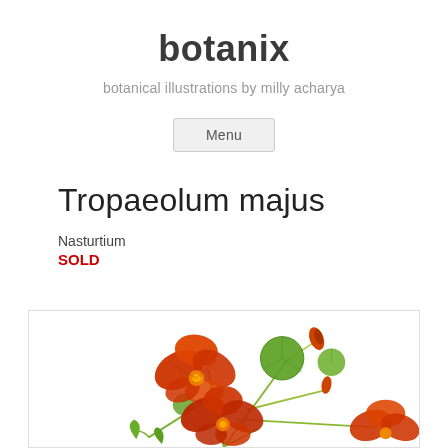botanix
botanical illustrations by milly acharya
Menu
Tropaeolum majus
Nasturtium
SOLD
[Figure (illustration): Botanical illustration of Tropaeolum majus (Nasturtium) showing red-orange flowers with green round leaves on trailing stems, partially visible at bottom of page]